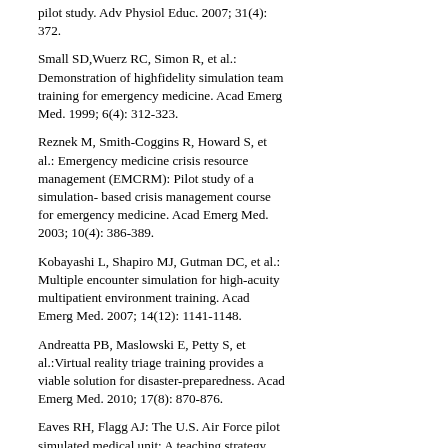pilot study. Adv Physiol Educ. 2007; 31(4): 372.
Small SD,Wuerz RC, Simon R, et al.: Demonstration of highfidelity simulation team training for emergency medicine. Acad Emerg Med. 1999; 6(4): 312-323.
Reznek M, Smith-Coggins R, Howard S, et al.: Emergency medicine crisis resource management (EMCRM): Pilot study of a simulation- based crisis management course for emergency medicine. Acad Emerg Med. 2003; 10(4): 386-389.
Kobayashi L, Shapiro MJ, Gutman DC, et al.: Multiple encounter simulation for high-acuity multipatient environment training. Acad Emerg Med. 2007; 14(12): 1141-1148.
Andreatta PB, Maslowski E, Petty S, et al.:Virtual reality triage training provides a viable solution for disaster-preparedness. Acad Emerg Med. 2010; 17(8): 870-876.
Eaves RH, Flagg AJ: The U.S. Air Force pilot simulated medical unit: A teaching strategy with multiple applications. J Nurs Educ. 2001; 40(3): 110-115.
Decker SI, Galvan TJ, Sridaromont K: Integrating an exercise on mass casualty response into the curriculum. J Nurs Educ. 2005; 44(7): 339-340.
Vincent DS, Burgess L, Berg BW, et al.: Teaching mass casualty triage skills using iterative multimanikin simulations. Prehosp